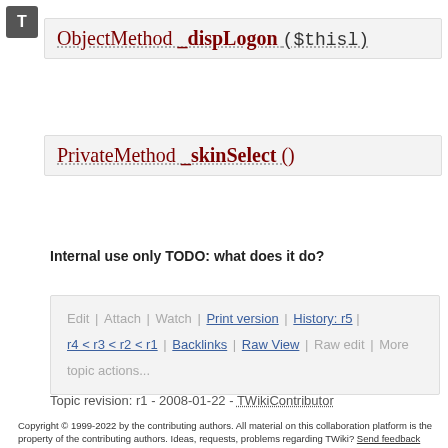ObjectMethod _dispLogon ($thisl)
PrivateMethod _skinSelect ()
Internal use only TODO: what does it do?
Edit | Attach | Watch | Print version | History: r5 | r4 < r3 < r2 < r1 | Backlinks | Raw View | Raw edit | More topic actions...
Topic revision: r1 - 2008-01-22 - TWikiContributor
Copyright © 1999-2022 by the contributing authors. All material on this collaboration platform is the property of the contributing authors. Ideas, requests, problems regarding TWiki? Send feedback Note: Please contribute updates to this topic on TWiki.org at TWiki:TWiki.TWikiLoginManagerDotPm.